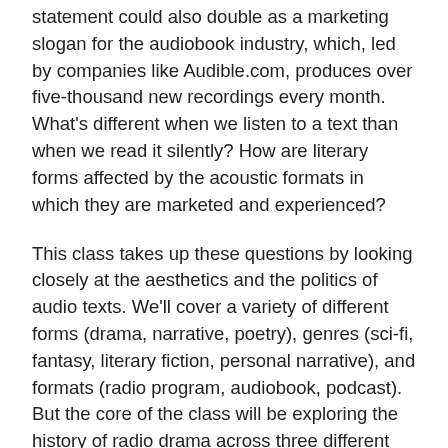statement could also double as a marketing slogan for the audiobook industry, which, led by companies like Audible.com, produces over five-thousand new recordings every month. What's different when we listen to a text than when we read it silently? How are literary forms affected by the acoustic formats in which they are marketed and experienced?
This class takes up these questions by looking closely at the aesthetics and the politics of audio texts. We'll cover a variety of different forms (drama, narrative, poetry), genres (sci-fi, fantasy, literary fiction, personal narrative), and formats (radio program, audiobook, podcast). But the core of the class will be exploring the history of radio drama across three different historical periods: American (1937-54); mid-century British (1954-1974) and the contemporary era (1970-now). What is specific to the history, theory, and medium of radio drama, and how did the genre leave its mark on the other forms of audio texts, both fiction and